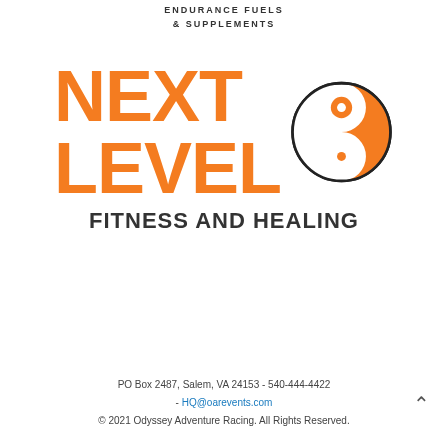ENDURANCE FUELS
& SUPPLEMENTS
[Figure (logo): Next Level Fitness and Healing logo: orange bold text reading NEXT LEVEL with a yin-yang symbol in orange and white with black outline, and subtitle FITNESS AND HEALING in dark gray]
PO Box 2487, Salem, VA 24153 - 540-444-4422 - HQ@oarevents.com
© 2021 Odyssey Adventure Racing. All Rights Reserved.